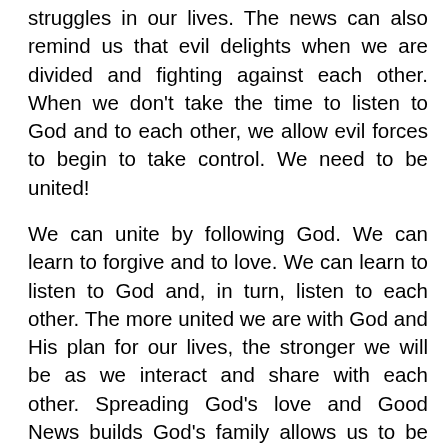struggles in our lives. The news can also remind us that evil delights when we are divided and fighting against each other. When we don't take the time to listen to God and to each other, we allow evil forces to begin to take control. We need to be united!
We can unite by following God. We can learn to forgive and to love. We can learn to listen to God and, in turn, listen to each other. The more united we are with God and His plan for our lives, the stronger we will be as we interact and share with each other. Spreading God's love and Good News builds God's family allows us to be united and helps us to fight against the real sources and powers of evil!
Unite with each other in God and fight the real powers of evil!